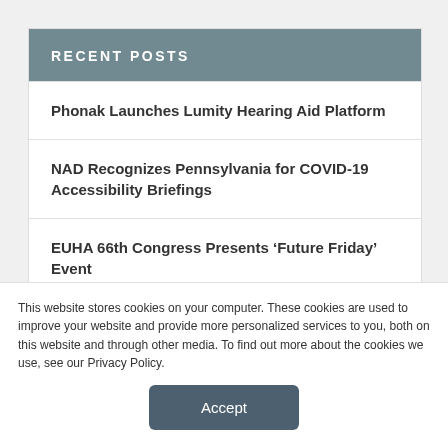RECENT POSTS
Phonak Launches Lumity Hearing Aid Platform
NAD Recognizes Pennsylvania for COVID-19 Accessibility Briefings
EUHA 66th Congress Presents ‘Future Friday’ Event
HearWorks Earns a Spot on ‘Inc. 5000 List’ for 2022
This website stores cookies on your computer. These cookies are used to improve your website and provide more personalized services to you, both on this website and through other media. To find out more about the cookies we use, see our Privacy Policy.
Accept